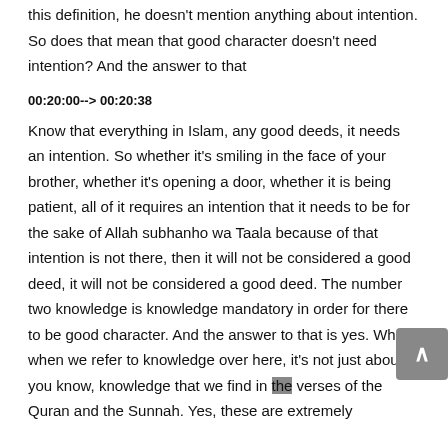this definition, he doesn't mention anything about intention. So does that mean that good character doesn't need intention? And the answer to that
00:20:00--> 00:20:38
Know that everything in Islam, any good deeds, it needs an intention. So whether it's smiling in the face of your brother, whether it's opening a door, whether it is being patient, all of it requires an intention that it needs to be for the sake of Allah subhanho wa Taala because of that intention is not there, then it will not be considered a good deed, it will not be considered a good deed. The number two knowledge is knowledge mandatory in order for there to be good character. And the answer to that is yes. When when we refer to knowledge over here, it's not just about, you know, knowledge that we find in the verses of the Quran and the Sunnah. Yes, these are extremely